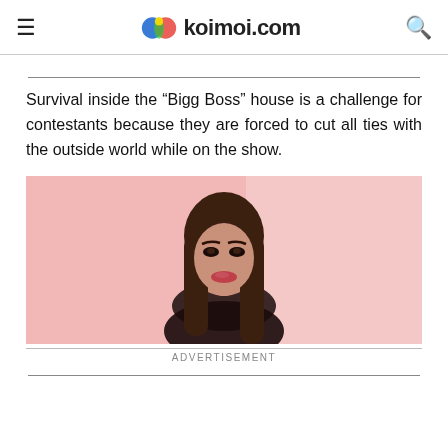koimoi.com
Survival inside the “Bigg Boss” house is a challenge for contestants because they are forced to cut all ties with the outside world while on the show.
[Figure (photo): Woman with long brown hair posing against a pink background, wearing a dark outfit]
ADVERTISEMENT